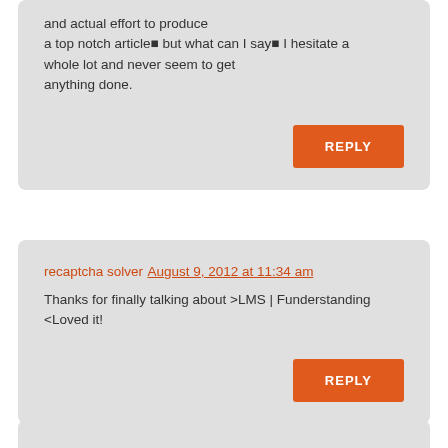and actual effort to produce a top notch article■ but what can I say■ I hesitate a whole lot and never seem to get anything done.
REPLY
recaptcha solver August 9, 2012 at 11:34 am
Thanks for finally talking about >LMS | Funderstanding <Loved it!
REPLY